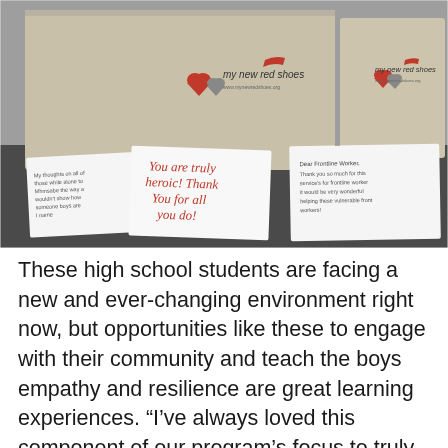[Figure (photo): Photo of 'My New Red Shoes' branded shoe boxes on a dark surface, with handwritten thank-you notes in front of the boxes. The notes include messages like 'You are truly heroic! Thank you for all you do!' and 'Dear Frontline Worker, Thank you so much for your service...' written in red and black ink.]
These high school students are facing a new and ever-changing environment right now, but opportunities like these to engage with their community and teach the boys empathy and resilience are great learning experiences. "I've always loved this component of our program's focus to truly embody our goal 'Be Your Best!'"